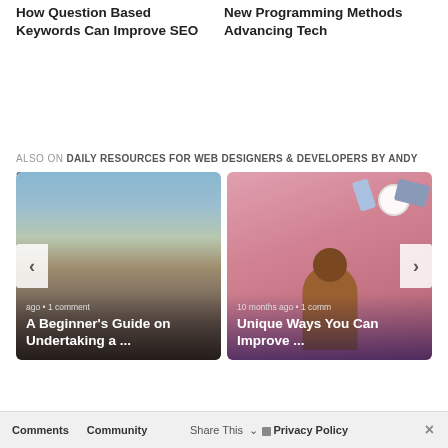How Question Based Keywords Can Improve SEO
New Programming Methods Advancing Tech
ALSO ON DAILY RESOURCES FOR WEB DESIGNERS & DEVELOPERS BY ANDY SOWARDS
[Figure (photo): Aerial city view with overlay text: ago • 1 comment / A Beginner's Guide on Undertaking a ...]
[Figure (illustration): Pink background illustration with person multitasking, devices floating. Text: 10 months ago • 1 comm / Unique Ways You Can Improve ...]
Comments   Community   Share This   Privacy Policy   ×